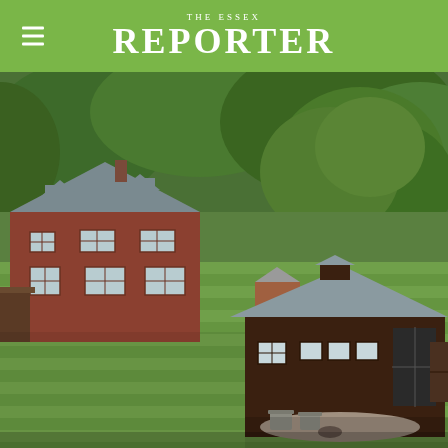THE ESSEX REPORTER
[Figure (photo): Aerial view of a Vermont rural property featuring a large red/brown farmhouse with gray roof and dormer windows on the left, a dark weathered wooden barn/outbuilding with a metal roof and small cupola in the foreground right, a smaller outbuilding in the middle background, and a large oak tree on the right. The property has a well-manicured green lawn with mowing stripes, surrounded by dense green forest in the background. Two outdoor chairs and a fire pit sit on a stone patio in front of the barn.]